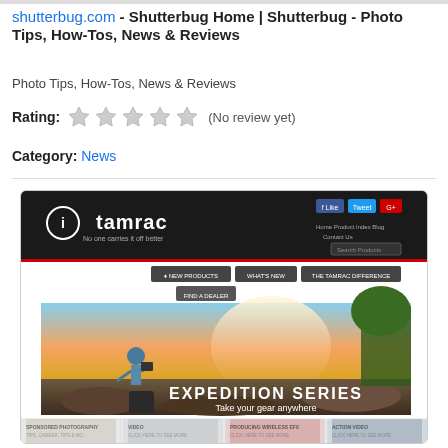shutterbug.com - Shutterbug Home | Shutterbug - Photo Tips, How-Tos, News & Reviews
Photo Tips, How-Tos, News & Reviews
Rating: (No review yet)
Category: News
[Figure (screenshot): Screenshot of the Tamrac website showing the Expedition Series backpack advertisement with a photographer at a coastal rocky scene]